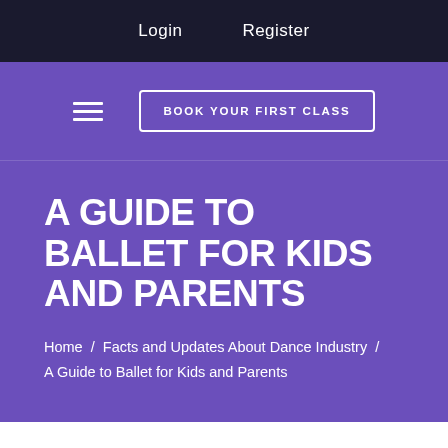Login   Register
BOOK YOUR FIRST CLASS
A GUIDE TO BALLET FOR KIDS AND PARENTS
Home / Facts and Updates About Dance Industry / A Guide to Ballet for Kids and Parents